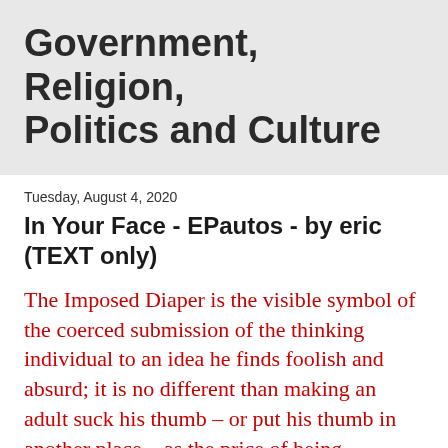Government, Religion, Politics and Culture
Tuesday, August 4, 2020
In Your Face - EPautos - by eric (TEXT only)
The Imposed Diaper is the visible symbol of the coerced submission of the thinking individual to an idea he finds foolish and absurd; it is no different than making an adult suck his thumb – or put his thumb in another place – as the price of being permitted